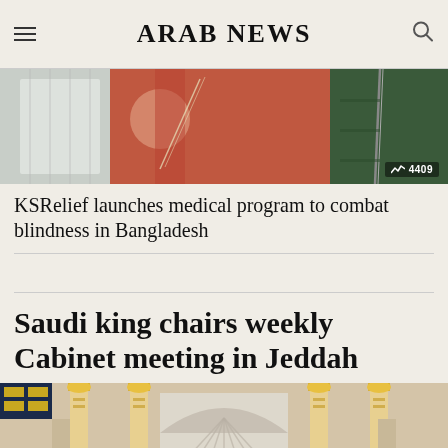ARAB NEWS
[Figure (photo): Medical procedure photo showing hands and patient, with a badge showing 4409]
KSRelief launches medical program to combat blindness in Bangladesh
[Figure (photo): Ornate building with golden columns, partially visible at bottom of page]
Saudi king chairs weekly Cabinet meeting in Jeddah